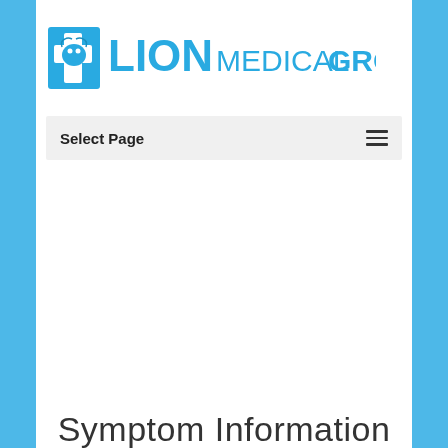[Figure (logo): Lion Medical Group logo with lion head and cross icon in blue, followed by LION MEDICAL GROUP text in blue]
Select Page
Symptom Information